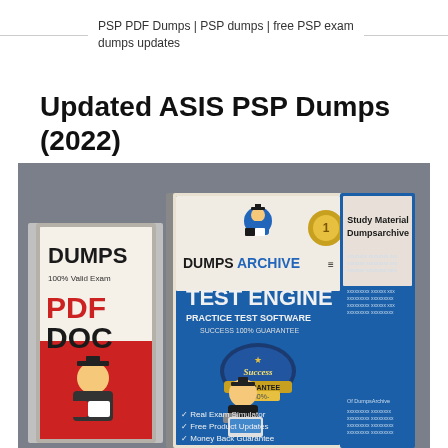PSP PDF Dumps | PSP dumps | free PSP exam dumps updates
Updated ASIS PSP Dumps (2022)
[Figure (photo): Product image showing two books/study guides from DumpsArchive. Left book is red with 'DUMPS 100% Valid Exam PDF DOC' text and cartoon student. Center book is blue with 'DUMPSARCHIVE TEST ENGINE PRACTICE TEST SOFTWARE SUCCESS 100% GUARANTEE' and checkmarks listing 'Real Exam Simulator', 'Free Product Updates', 'Money Back Guarantee'. Right side shows a blue spine labeled 'Study Material Dumpsarchive'. Gray background.]